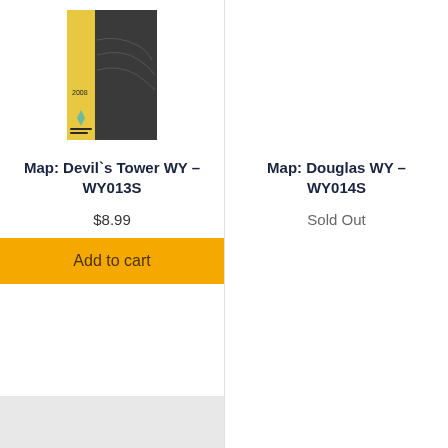[Figure (photo): Product image of a topographic map booklet for Devil's Tower WY - WY013S, yellow cover with dark imagery]
Map: Devil`s Tower WY – WY013S
$8.99
Add to cart
Map: Douglas WY – WY014S
Sold Out